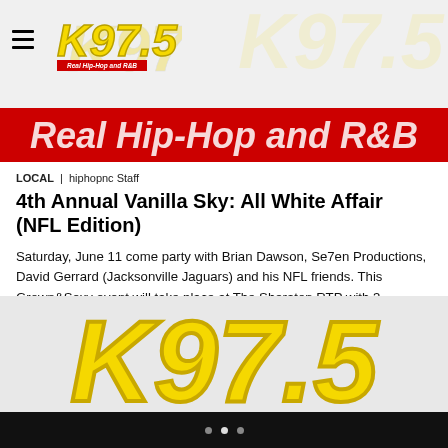K97.5 – Real Hip-Hop and R&B (logo/header)
[Figure (logo): K97.5 Real Hip-Hop and R&B banner – white italic text on red background]
LOCAL | hiphopnc Staff
4th Annual Vanilla Sky: All White Affair (NFL Edition)
Saturday, June 11 come party with Brian Dawson, Se7en Productions, David Gerrard (Jacksonville Jaguars) and his NFL friends. This Grown&Sexy event will take place at The Sheraton RTP with 3 ballrooms, 3 djs and a VIP Lounge. Check out the flyer below.
[Figure (logo): Large K97.5 yellow italic logo on gray/light background, partial view]